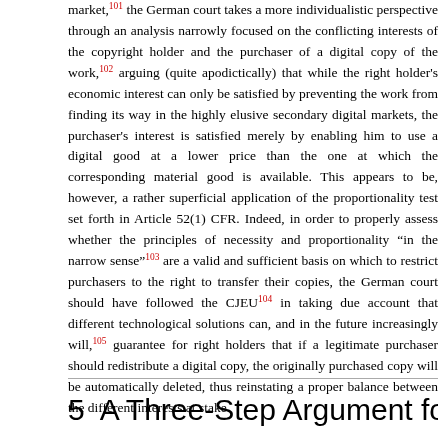market,101 the German court takes a more individualistic perspective through an analysis narrowly focused on the conflicting interests of the copyright holder and the purchaser of a digital copy of the work,102 arguing (quite apodictically) that while the right holder's economic interest can only be satisfied by preventing the work from finding its way in the highly elusive secondary digital markets, the purchaser's interest is satisfied merely by enabling him to use a digital good at a lower price than the one at which the corresponding material good is available. This appears to be, however, a rather superficial application of the proportionality test set forth in Article 52(1) CFR. Indeed, in order to properly assess whether the principles of necessity and proportionality "in the narrow sense"103 are a valid and sufficient basis on which to restrict purchasers to the right to transfer their copies, the German court should have followed the CJEU104 in taking due account that different technological solutions can, and in the future increasingly will,105 guarantee for right holders that if a legitimate purchaser should redistribute a digital copy, the originally purchased copy will be automatically deleted, thus reinstating a proper balance between the different interests at stake.
5  A Three-Step Argument for